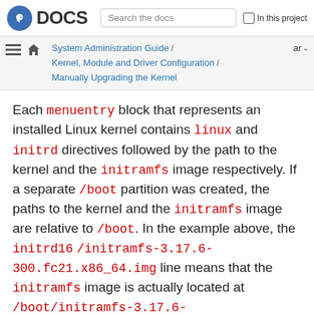Fedora DOCS | Search the docs | In this project
System Administration Guide / Kernel, Module and Driver Configuration / Manually Upgrading the Kernel | ar
Each menuentry block that represents an installed Linux kernel contains linux and initrd directives followed by the path to the kernel and the initramfs image respectively. If a separate /boot partition was created, the paths to the kernel and the initramfs image are relative to /boot. In the example above, the initrd16 /initramfs-3.17.6-300.fc21.x86_64.img line means that the initramfs image is actually located at /boot/initramfs-3.17.6-300.fc21.x86_64.img when the root file system